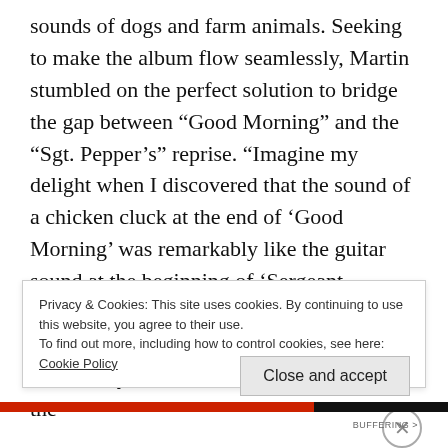sounds of dogs and farm animals. Seeking to make the album flow seamlessly, Martin stumbled on the perfect solution to bridge the gap between “Good Morning” and the “Sgt. Pepper’s” reprise. “Imagine my delight when I discovered that the sound of a chicken cluck at the end of ‘Good Morning’ was remarkably like the guitar sound at the beginning of ‘Sergeant Pepper,’” he wrote in All You Need Is Ears. “I was able to cut and mix the two tracks in such a way that the one actually turned into the
Privacy & Cookies: This site uses cookies. By continuing to use this website, you agree to their use.
To find out more, including how to control cookies, see here:
Cookie Policy
Close and accept